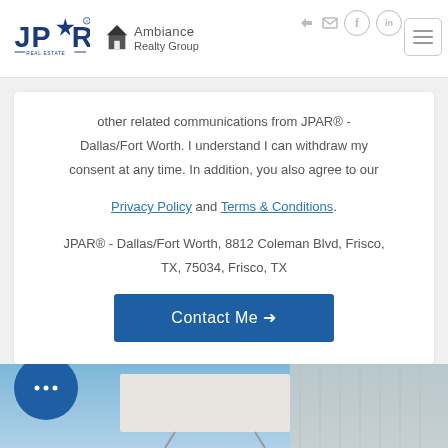[Figure (logo): JPAR Real Estate logo and Ambiance Realty Group logo in website header]
other related communications from JPAR® - Dallas/Fort Worth. I understand I can withdraw my consent at any time. In addition, you also agree to our Privacy Policy and Terms & Conditions. JPAR® - Dallas/Fort Worth, 8812 Coleman Blvd, Frisco, TX, 75034, Frisco, TX
[Figure (photo): Partial view of a house exterior with a for-sale sign, blue sky in background]